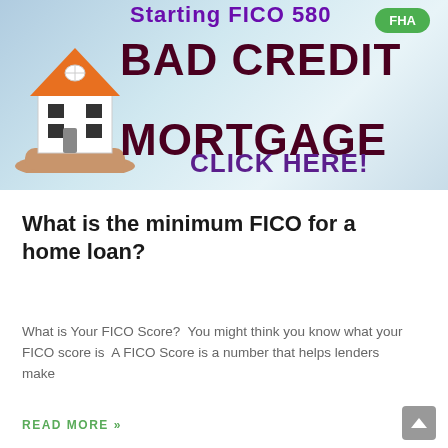[Figure (illustration): Promotional banner for bad credit mortgage with FHA label. Shows a white house model with orange roof held in a hand, dark red bold text reading 'Starting FICO 580', 'BAD CREDIT MORTGAGE', and 'CLICK HERE!' in purple. A green FHA badge appears in the top right corner. Background is a light blue-grey gradient.]
What is the minimum FICO for a home loan?
What is Your FICO Score?  You might think you know what your FICO score is  A FICO Score is a number that helps lenders make
READ MORE »